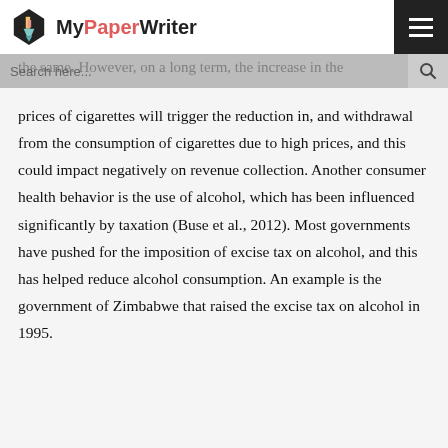MyPaperWriter
revenue collection, as higher taxes are imposed on the manufacturers, which trickles down to the retailers of the same. However, on a long term, the increase in the prices of cigarettes will trigger the reduction in, and withdrawal from the consumption of cigarettes due to high prices, and this could impact negatively on revenue collection. Another consumer health behavior is the use of alcohol, which has been influenced significantly by taxation (Buse et al., 2012). Most governments have pushed for the imposition of excise tax on alcohol, and this has helped reduce alcohol consumption. An example is the government of Zimbabwe that raised the excise tax on alcohol in 1995.